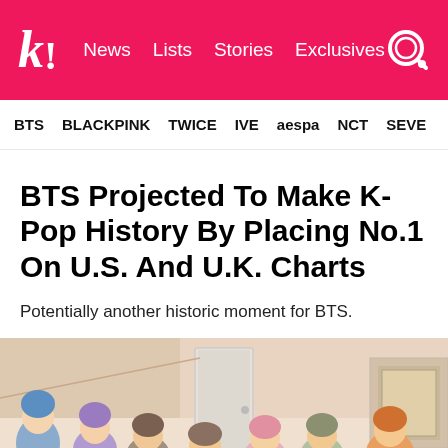k! News Lists Stories Exclusives
BTS BLACKPINK TWICE IVE aespa NCT SEVE
BTS Projected To Make K-Pop History By Placing No.1 On U.S. And U.K. Charts
Potentially another historic moment for BTS.
[Figure (photo): Group photo of BTS members seated together in a light-colored room with a door visible in the background. Members have various hair colors including blue, purple, brown, pink, and orange.]